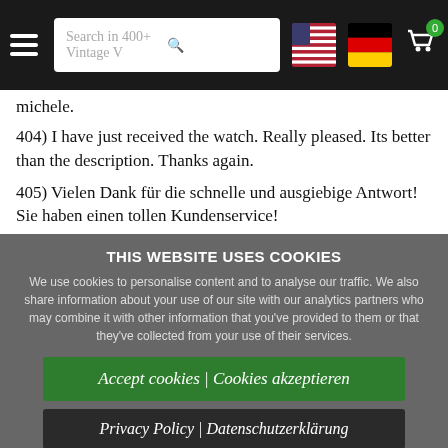Search in 400+ Vintage V [search bar] [US flag] [DE flag] [cart 0]
michele.
404) I have just received the watch. Really pleased. Its better than the description. Thanks again.
405) Vielen Dank für die schnelle und ausgiebige Antwort! Sie haben einen tollen Kundenservice!
THIS WEBSITE USES COOKIES
We use cookies to personalise content and to analyse our traffic. We also share information about your use of our site with our analytics partners who may combine it with other information that you've provided to them or that they've collected from your use of their services.
Accept cookies | Cookies akzeptieren
Privacy Policy | Datenschutzerklärung